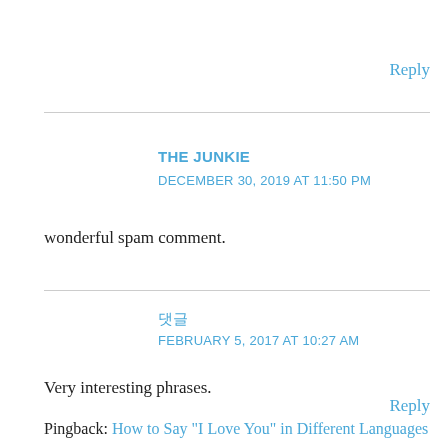Reply
THE JUNKIE
DECEMBER 30, 2019 AT 11:50 PM
wonderful spam comment.
Reply
댓글
FEBRUARY 5, 2017 AT 10:27 AM
Very interesting phrases.
Reply
Pingback: How to Say "I Love You" in Different Languages